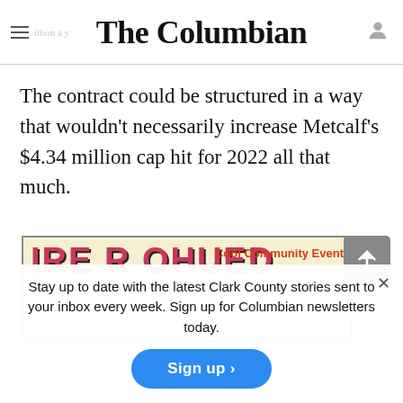The Columbian
The contract could be structured in a way that wouldn't necessarily increase Metcalf's $4.34 million cap hit for 2022 all that much.
[Figure (advertisement): Advertisement banner with colorful logo text and 'Cool Community Event' label]
Stay up to date with the latest Clark County stories sent to your inbox every week. Sign up for Columbian newsletters today.
Sign up >